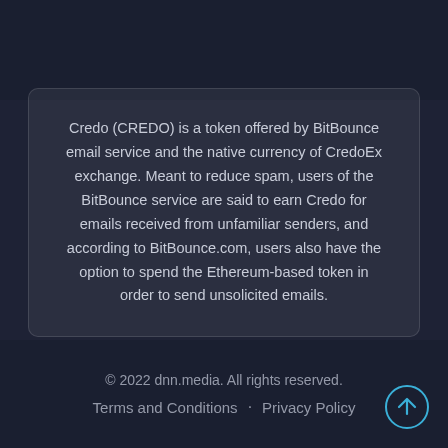Credo (CREDO) is a token offered by BitBounce email service and the native currency of CredoEx exchange. Meant to reduce spam, users of the BitBounce service are said to earn Credo for emails received from unfamiliar senders, and according to BitBounce.com, users also have the option to spend the Ethereum-based token in order to send unsolicited emails.
© 2022 dnn.media. All rights reserved. Terms and Conditions · Privacy Policy